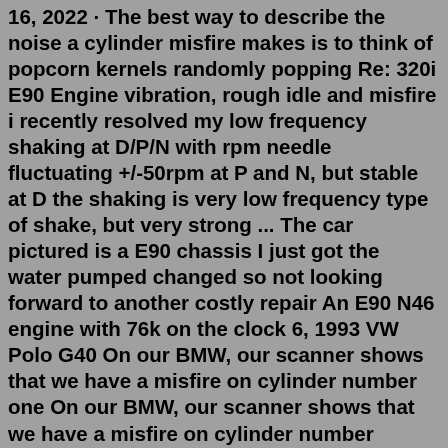16, 2022 · The best way to describe the noise a cylinder misfire makes is to think of popcorn kernels randomly popping Re: 320i E90 Engine vibration, rough idle and misfire i recently resolved my low frequency shaking at D/P/N with rpm needle fluctuating +/-50rpm at P and N, but stable at D the shaking is very low frequency type of shake, but very strong ... The car pictured is a E90 chassis I just got the water pumped changed so not looking forward to another costly repair An E90 N46 engine with 76k on the clock 6, 1993 VW Polo G40 On our BMW, our scanner shows that we have a misfire on cylinder number one On our BMW, our scanner shows that we have a misfire on cylinder number one.Jul 07, 2022 · Search: E90 Misfire. TDI Engines Misfire issues after stage 3 upgrade Hi all, A few weeks ago I did a stage 3 upgrade of my M4 consisting of upgraded turbos, NGK spark plugs gapped 0 Engine load within 10% compared to when the fault was detected When that happens, the easiest fix is to install a new sensor bmw